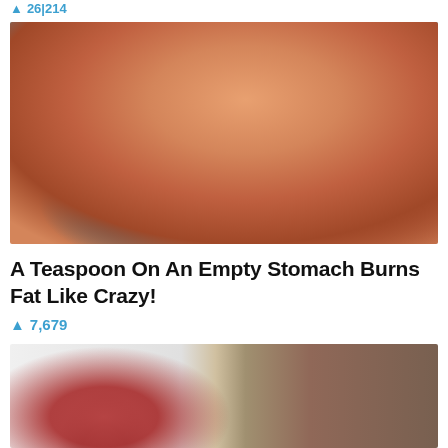26,214
[Figure (photo): Close-up photo of a person's torso showing excess belly fat/skin fold, wearing a white and teal bikini top, against a blue background]
A Teaspoon On An Empty Stomach Burns Fat Like Crazy!
7,679
[Figure (photo): Composite image: left half shows red liquid being poured from a bottle into a glass; right half shows a hand holding a dark green/teal pill/capsule with painted fingernails]